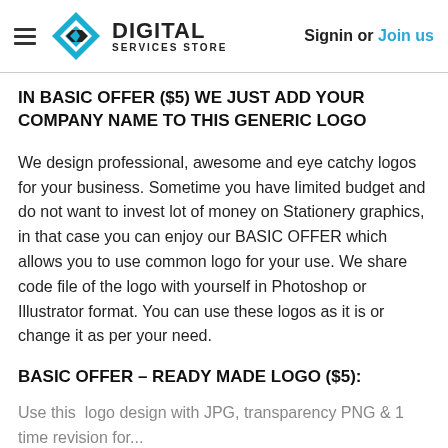Digital Services Store — Signin or Join us
IN BASIC OFFER ($5) WE JUST ADD YOUR COMPANY NAME TO THIS GENERIC LOGO
We design professional, awesome and eye catchy logos for your business. Sometime you have limited budget and do not want to invest lot of money on Stationery graphics, in that case you can enjoy our BASIC OFFER which allows you to use common logo for your use. We share code file of the logo with yourself in Photoshop or Illustrator format. You can use these logos as it is or change it as per your need.
BASIC OFFER – READY MADE LOGO ($5):
Use this  logo design with JPG, transparency PNG & 1 time revision for...